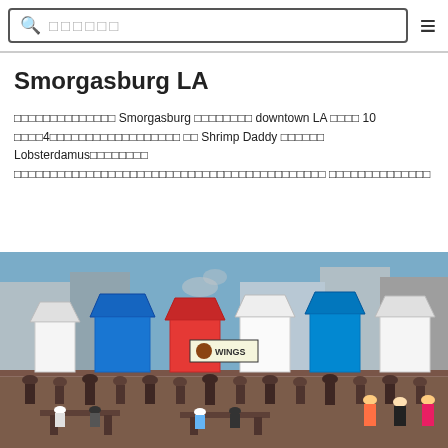Search bar with search icon placeholder text and menu icon
Smorgasburg LA
□□□□□□□□□□□□□□ Smorgasburg □□□□□□□□ downtown LA □□□□ 10 □□□□4□□□□□□□□□□□□□□□□□□ □□ Shrimp Daddy □□□□□□ Lobsterdamus□□□□□□□□ □□□□□□□□□□□□□□□□□□□□□□□□□□□□□□□□□□□□□□□□□ □□□□□□□□□□□□□□
[Figure (photo): Outdoor food market with colorful vendor tents (white, blue, red), crowds of people walking and sitting at tables, urban buildings in background, sunny day, sign reading WINGS visible]